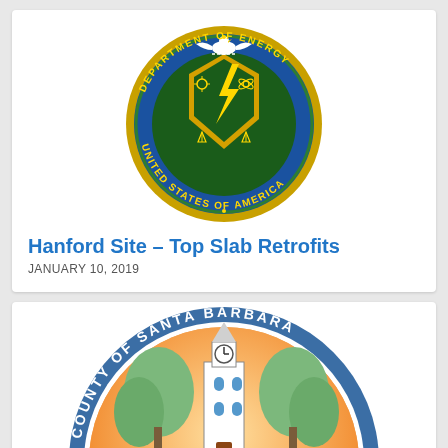[Figure (logo): U.S. Department of Energy official seal — circular gold and green seal with eagle on top, shield with lightning bolt in center, text reading DEPARTMENT OF ENERGY UNITED STATES OF AMERICA around the border]
Hanford Site – Top Slab Retrofits
JANUARY 10, 2019
[Figure (logo): County of Santa Barbara official seal — circular seal with blue border text reading COUNTY OF SANTA BARBARA, orange and white illustration of a historic mission building with clock tower and trees]